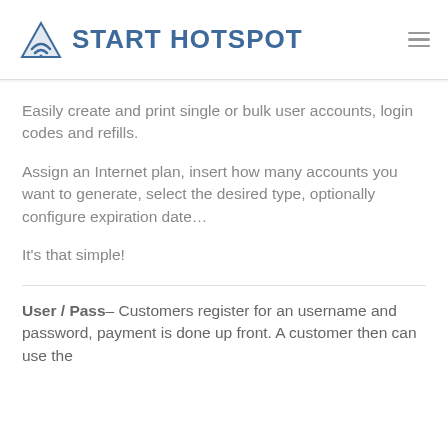START HOTSPOT
Easily create and print single or bulk user accounts, login codes and refills.
Assign an Internet plan, insert how many accounts you want to generate, select the desired type, optionally configure expiration date…
It's that simple!
User / Pass– Customers register for an username and password, payment is done up front. A customer then can use the